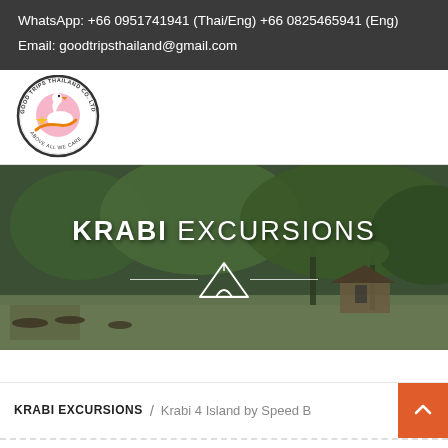WhatsApp: +66 0951741941 (Thai/Eng) +66 0825465941 (Eng)
Email: goodtripsthailand@gmail.com
[Figure (logo): Good Trips Thailand Co. Ltd logo - circular badge with swan and star graphic]
[Figure (photo): Aerial/landscape photo of Krabi waterway with mangrove forests, boats, and stilt buildings. Overlay text reads KRABI EXCURSIONS with a tent icon between horizontal lines.]
KRABI EXCURSIONS
KRABI EXCURSIONS / Krabi 4 Island by Speed B...